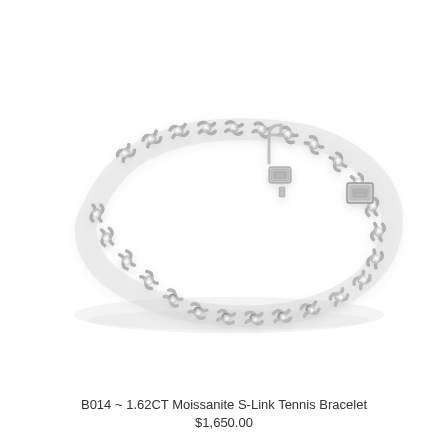[Figure (photo): A silver/white gold moissanite S-link tennis bracelet with sparkling round stones set in S-shaped links, shown with clasp open, on a white background with subtle reflection.]
B014 ~ 1.62CT Moissanite S-Link Tennis Bracelet $1,650.00